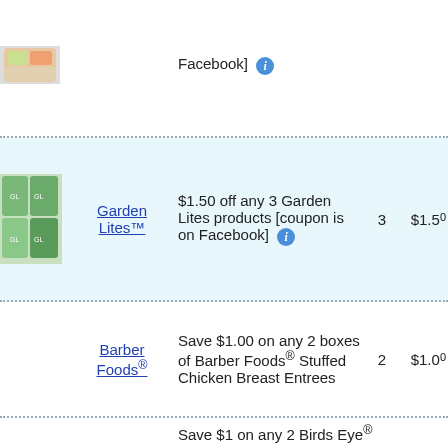| Image | Brand | Description | Qty | Value |
| --- | --- | --- | --- | --- |
| [partial image] | [partial brand] | $1.50 off any 3 Garden Lites products [coupon is on Facebook] | 3 | $1.50 |
| [Garden Lites image] | Garden Lites™ | $1.50 off any 3 Garden Lites products [coupon is on Facebook] | 3 | $1.50 |
|  | Barber Foods® | Save $1.00 on any 2 boxes of Barber Foods® Stuffed Chicken Breast Entrees | 2 | $1.00 |
|  |  | Save $1 on any 2 Birds Eye® |  |  |